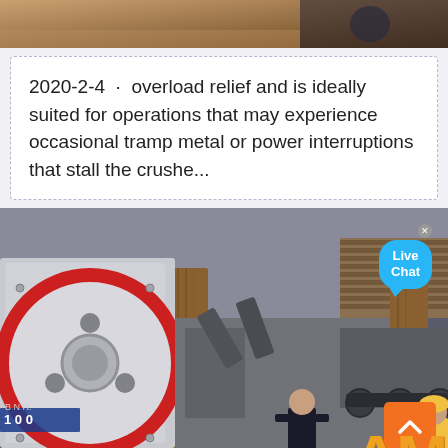[Figure (photo): Partial view of industrial machinery at the top of the page, brown/tan colored background suggesting wood or metal frame]
2020-2-4 · overload relief and is ideally suited for operations that may experience occasional tramp metal or power interruptions that stall the crushe...
[Figure (photo): Industrial crusher machine with a large red flywheel, wooden support frames, workers in the background, and a construction/industrial yard setting. Live Chat bubble visible in top right. Orange scroll-to-top button at bottom right. 'AM' logo letters at bottom right corner.]